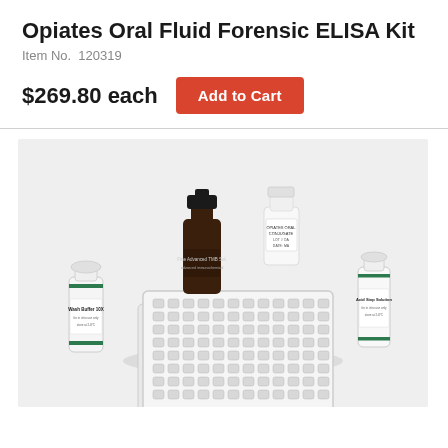Opiates Oral Fluid Forensic ELISA Kit
Item No.  120319
$269.80 each
Add to Cart
[Figure (photo): Product photo showing Opiates Oral Fluid Forensic ELISA Kit components: a dark brown bottle, a white labeled bottle, a white squeeze bottle, a white bottle with green label (Wash Buffer 10X), and a 96-well microplate tray, arranged on a light gray surface.]